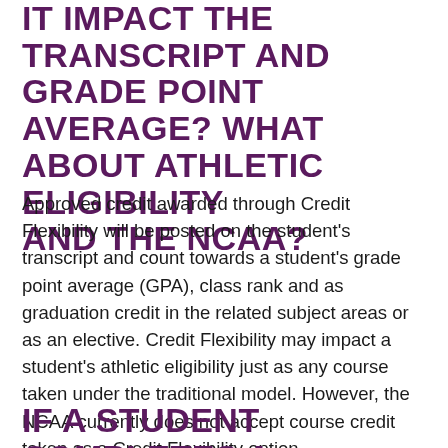IT IMPACT THE TRANSCRIPT AND GRADE POINT AVERAGE? WHAT ABOUT ATHLETIC ELIGIBILITY AND THE NCAA?
Approved credit awarded through Credit Flexibility will be posted on the student's transcript and count towards a student's grade point average (GPA), class rank and as graduation credit in the related subject areas or as an elective. Credit Flexibility may impact a student's athletic eligibility just as any course taken under the traditional model. However, the NCAA currently does not accept course credit taken as a Credit Flexibility option.
IF A STUDENT COMPLETES A